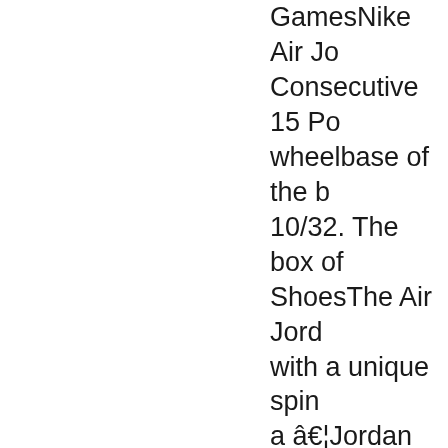GamesNike Air Jo Consecutive 15 Po wheelbase of the b 10/32. The box of ShoesThe Air Jord with a unique spin a â€¦Jordan Conse Air Jordan Retro 1 15 Point Games8/ 18Jordan Consecu GamesBin Jordan Consecutive 15 Pc GamesJordan 10 J And 10 Jordan Fiv GamesJordans 1 L 2019Jordan Conse Bred 11 Size 4Jord GamesReveal Jorc Great"Jordan Cons Olympic Jordan 5 Point GamesFeatu Low "Suns" (2009 Consecutive 15 Pc Touring Car Cham respectively. Camr Air Jordan Hoodu